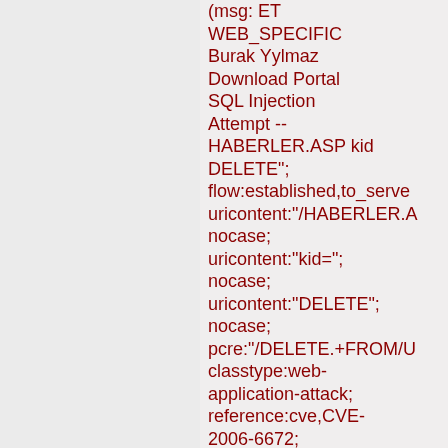(msg: ET WEB_SPECIFIC Burak Yylmaz Download Portal SQL Injection Attempt -- HABERLER.ASP kid DELETE"; flow:established,to_server; uricontent:"/HABERLER.A; nocase; uricontent:"kid="; nocase; uricontent:"DELETE"; nocase; pcre:"/DELETE.+FROM/U classtype:web-application-attack; reference:cve,CVE-2006-6672; reference:url,www.frsirt.co reference:url,doc.emergin reference:url,www.emergi